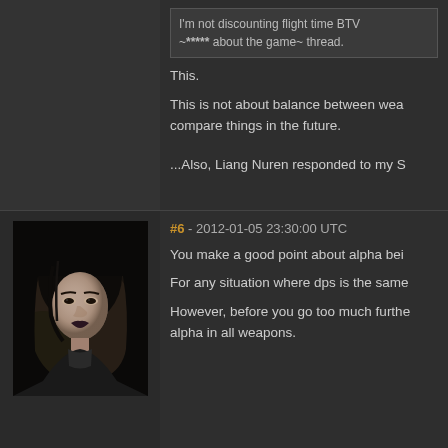I'm not discounting flight time BTW ~***** about the game~ thread.
This.
This is not about balance between wea... compare things in the future.
...Also, Liang Nuren responded to my S
#6 - 2012-01-05 23:30:00 UTC
[Figure (photo): Avatar portrait of a dark-haired female character from a video game, with pale skin and dark makeup, on a dark background]
You make a good point about alpha bei...
For any situation where dps is the same...
However, before you go too much furthe... alpha in all weapons.